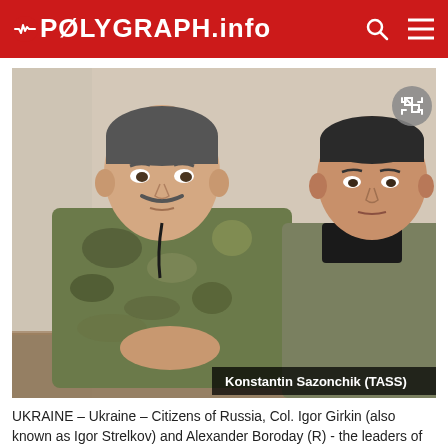POLYGRAPH.info
[Figure (photo): Two men seated at a table. The man on the left wears a camouflage jacket and has a mustache. The man on the right wears an olive/khaki jacket and a black shirt. A photo credit reads 'Konstantin Sazonchik (TASS)' in the bottom right corner.]
UKRAINE – Ukraine – Citizens of Russia, Col. Igor Girkin (also known as Igor Strelkov) and Alexander Boroday (R) - the leaders of the so-called "DPR" - during their joint press conference in Donetsk.